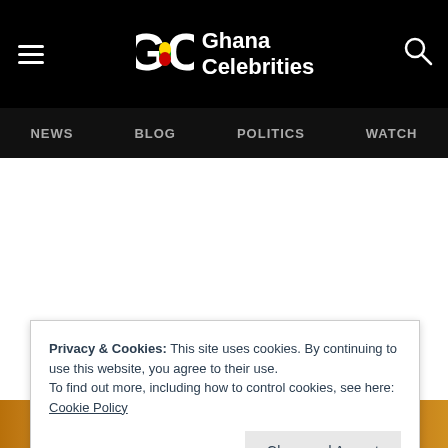Ghana Celebrities — NEWS  BLOG  POLITICS  WATCH
Privacy & Cookies: This site uses cookies. By continuing to use this website, you agree to their use.
To find out more, including how to control cookies, see here:
Cookie Policy
Close and Accept
[Figure (photo): Bottom strip of a photograph showing a person in warm golden bokeh lighting]